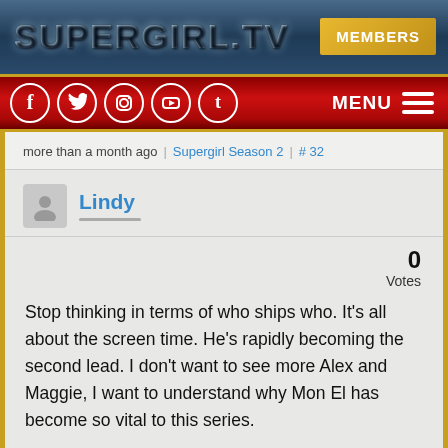SUPERGIRL.TV  MEMBERS
[Figure (screenshot): Navigation bar with social media icons (Facebook, Twitter, Instagram, YouTube, Tumblr) on left and MENU hamburger icon on right, on a dark red gradient background]
more than a month ago  Supergirl Season 2  # 32
Lindy
0
Votes
Stop thinking in terms of who ships who. It's all about the screen time. He's rapidly becoming the second lead. I don't want to see more Alex and Maggie, I want to understand why Mon El has become so vital to this series.